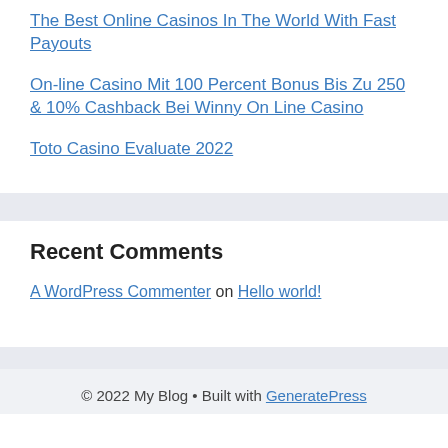The Best Online Casinos In The World With Fast Payouts
On-line Casino Mit 100 Percent Bonus Bis Zu 250 & 10% Cashback Bei Winny On Line Casino
Toto Casino Evaluate 2022
Recent Comments
A WordPress Commenter on Hello world!
© 2022 My Blog • Built with GeneratePress